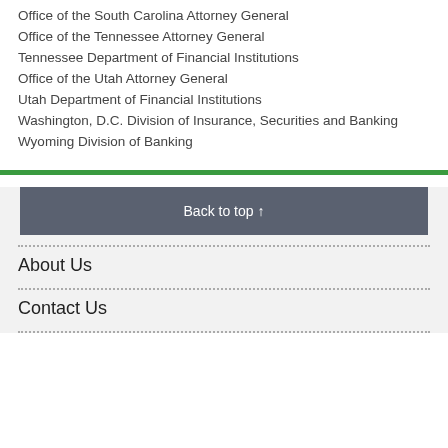Office of the South Carolina Attorney General
Office of the Tennessee Attorney General
Tennessee Department of Financial Institutions
Office of the Utah Attorney General
Utah Department of Financial Institutions
Washington, D.C. Division of Insurance, Securities and Banking
Wyoming Division of Banking
Back to top ↑
About Us
Contact Us